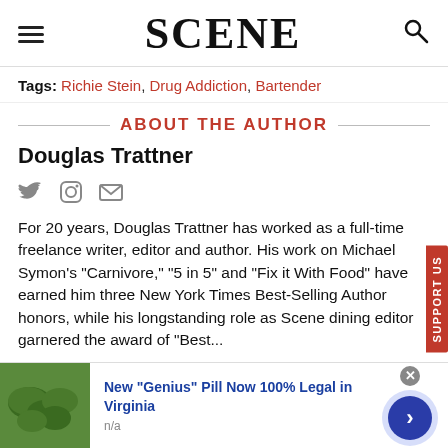SCENE
Tags: Richie Stein, Drug Addiction, Bartender
ABOUT THE AUTHOR
Douglas Trattner
For 20 years, Douglas Trattner has worked as a full-time freelance writer, editor and author. His work on Michael Symon's "Carnivore," "5 in 5" and "Fix it With Food" have earned him three New York Times Best-Selling Author honors, while his longstanding role as Scene dining editor garnered the award of "Best...
[Figure (other): Advertisement: New "Genius" Pill Now 100% Legal in Virginia, n/a, with green pill image and navigation arrow]